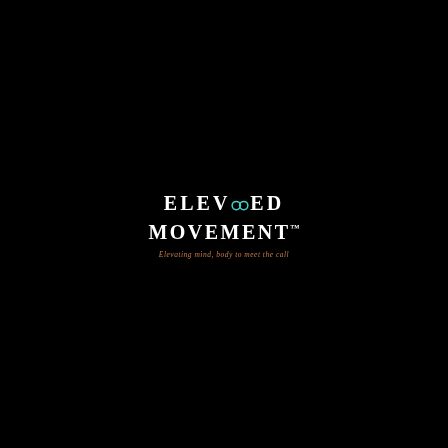[Figure (logo): Elevated Movement logo on black background. Text reads 'ELEV8ED MOVEMENT' in white serif uppercase letters with a teal infinity/figure-8 symbol replacing the '8' in ELEV8ED. Tagline below in copper/brown italic script: 'Elevating mind, body to meet the call']